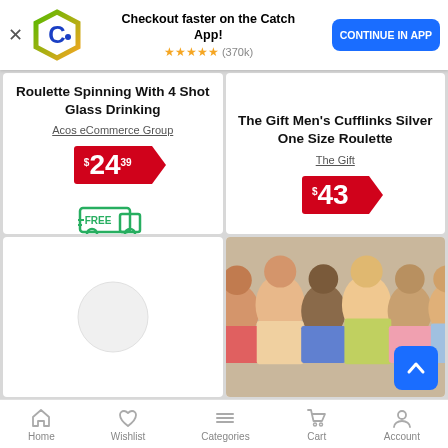[Figure (screenshot): Catch app promotional banner with Catch logo, star rating, and Continue in App button]
Checkout faster on the Catch App! ★★★★★ (370k)
CONTINUE IN APP
Roulette Spinning With 4 Shot Glass Drinking
Acos eCommerce Group
$24.39
[Figure (illustration): Free delivery truck icon with FREE label]
The Gift Men's Cufflinks Silver One Size Roulette
The Gift
$43
[Figure (photo): Group of young people looking at something together smiling]
Home  Wishlist  Categories  Cart  Account